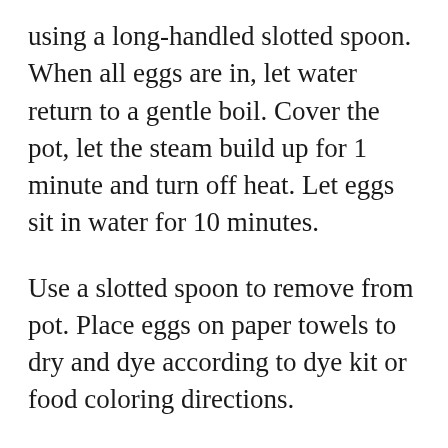using a long-handled slotted spoon. When all eggs are in, let water return to a gentle boil. Cover the pot, let the steam build up for 1 minute and turn off heat. Let eggs sit in water for 10 minutes.
Use a slotted spoon to remove from pot. Place eggs on paper towels to dry and dye according to dye kit or food coloring directions.
Omelet. There is no reason to brown an omelet, although most of the world does. Ingredients such as onions, broccoli and mushrooms should be cooked before adding to an omelet. For the perfect omelet, use a